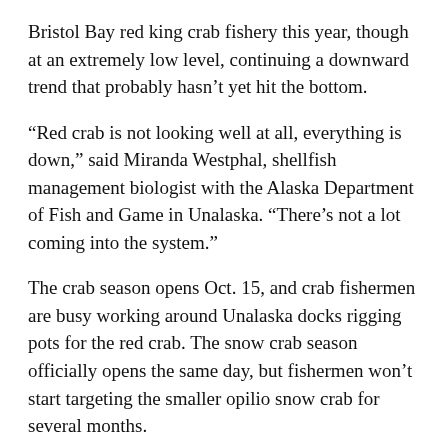Bristol Bay red king crab fishery this year, though at an extremely low level, continuing a downward trend that probably hasn’t yet hit the bottom.
“Red crab is not looking well at all, everything is down,” said Miranda Westphal, shellfish management biologist with the Alaska Department of Fish and Game in Unalaska. “There’s not a lot coming into the system.”
The crab season opens Oct. 15, and crab fishermen are busy working around Unalaska docks rigging pots for the red crab. The snow crab season officially opens the same day, but fishermen won’t start targeting the smaller opilio snow crab for several months.
Bering Sea crab quotas were announced Sunday by ADF&G’s Division of Commercial Fisheries. The red king harvest level is set at 3.79 million pounds, down 12% from last year’s 4.3 million, Westphal said.
“I don’t know if it has reached its low” she said